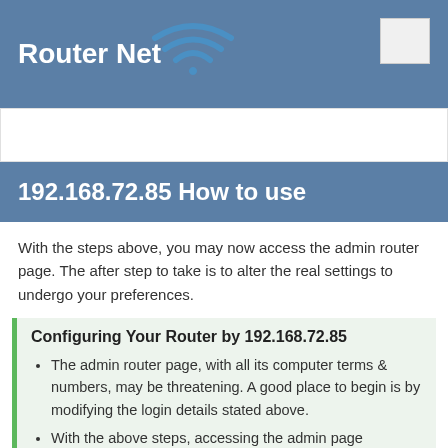Router Net
192.168.72.85 How to use
With the steps above, you may now access the admin router page. The after step to take is to alter the real settings to undergo your preferences.
Configuring Your Router by 192.168.72.85
The admin router page, with all its computer terms & numbers, may be threatening. A good place to begin is by modifying the login details stated above.
With the above steps, accessing the admin page